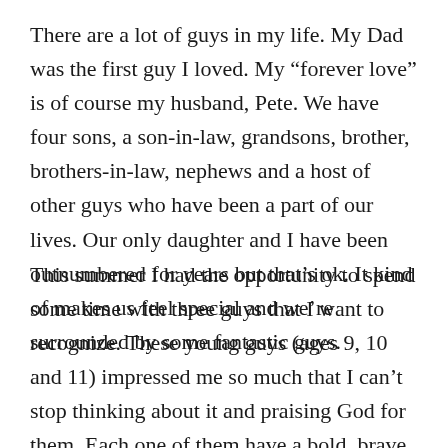There are a lot of guys in my life. My Dad was the first guy I loved. My “forever love” is of course my husband, Pete. We have four sons, a son-in-law, grandsons, brother, brothers-in-law, nephews and a host of other guys who have been a part of our lives. Our only daughter and I have been outnumbered for years but that’s ok. It kind of makes us feel special and we’re surrounded by some fantastic guys.
This summer I had the opportunity to spend some time with three guys that I want to recognize. These young guys (ages 9, 10 and 11) impressed me so much that I can’t stop thinking about it and praising God for them. Each one of them have a bold, brave and humble spirit with a confidence that comes from knowing who they